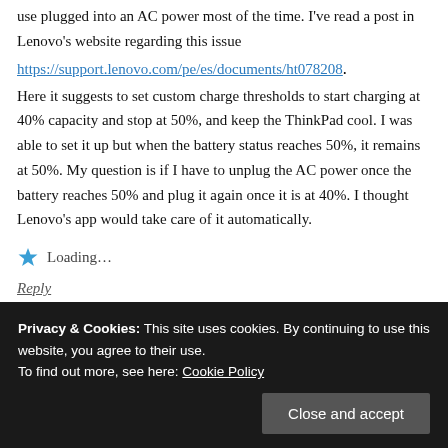use plugged into an AC power most of the time. I've read a post in Lenovo's website regarding this issue
https://support.lenovo.com/pe/es/documents/ht078208.
Here it suggests to set custom charge thresholds to start charging at 40% capacity and stop at 50%, and keep the ThinkPad cool. I was able to set it up but when the battery status reaches 50%, it remains at 50%. My question is if I have to unplug the AC power once the battery reaches 50% and plug it again once it is at 40%. I thought Lenovo's app would take care of it automatically.
Loading...
Reply
Privacy & Cookies: This site uses cookies. By continuing to use this website, you agree to their use.
To find out more, see here: Cookie Policy
Close and accept
You can then use the notebook plugged in, it will not